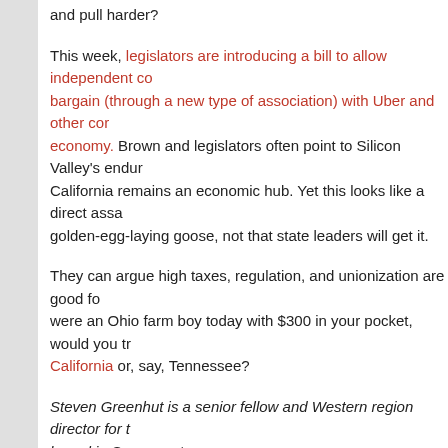and pull harder?
This week, legislators are introducing a bill to allow independent co bargain (through a new type of association) with Uber and other cor economy. Brown and legislators often point to Silicon Valley's endur California remains an economic hub. Yet this looks like a direct assa golden-egg-laying goose, not that state leaders will get it.
They can argue high taxes, regulation, and unionization are good fo were an Ohio farm boy today with $300 in your pocket, would you tr California or, say, Tennessee?
Steven Greenhut is a senior fellow and Western region director for t based in Sacramento.
This piece was originally published by The American Spectator